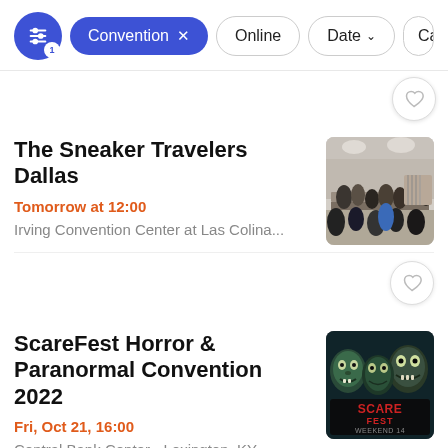Convention × | Online | Date | Ca…
The Sneaker Travelers Dallas
Tomorrow at 12:00
Irving Convention Center at Las Colina...
[Figure (photo): Indoor crowd at sneaker convention, people browsing tables with merchandise]
ScareFest Horror & Paranormal Convention 2022
Fri, Oct 21, 16:00
Central Bank Center • Lexington, KY
[Figure (photo): ScareFest Weekend 14 promotional image with horror themed faces and logo]